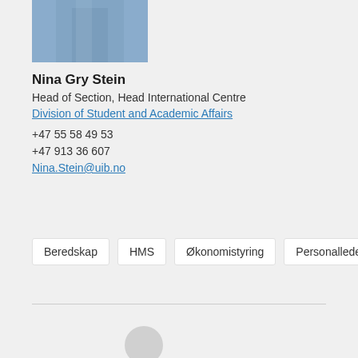[Figure (photo): Partial photo of Nina Gry Stein showing upper body in blue/grey clothing, cropped at top]
Nina Gry Stein
Head of Section, Head International Centre
Division of Student and Academic Affairs
+47 55 58 49 53
+47 913 36 607
Nina.Stein@uib.no
Beredskap
HMS
Økonomistyring
Personalledelse
[Figure (photo): Placeholder silhouette portrait icon in grey on light grey background]